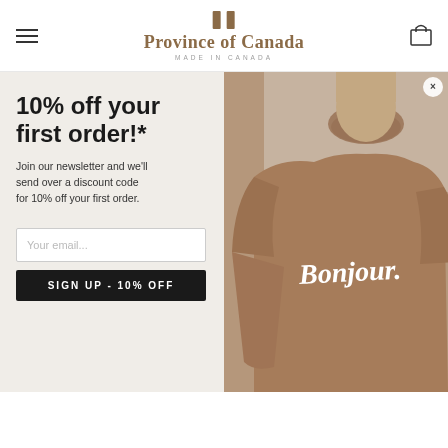Province of Canada — MADE IN CANADA
[Figure (screenshot): E-commerce popup modal with left panel showing '10% off your first order!*' newsletter signup form and right panel showing a model wearing a brown 'Bonjour.' sweatshirt]
10% off your first order!*
Join our newsletter and we'll send over a discount code for 10% off your first order.
Your email...
SIGN UP - 10% OFF
COVID-19
About Us